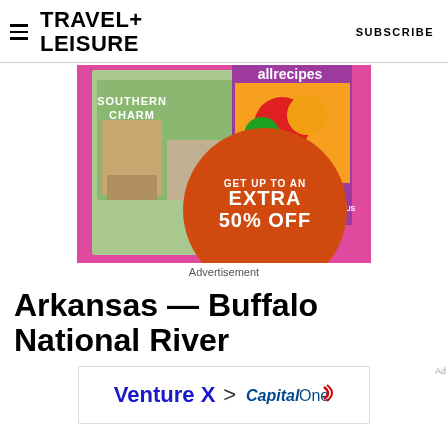TRAVEL+ LEISURE  SUBSCRIBE
[Figure (illustration): Magazine subscription advertisement with pink background showing Southern Charm and allrecipes magazine covers, with orange circle badge reading GET UP TO AN EXTRA 50% OFF]
Advertisement
Arkansas — Buffalo National River
[Figure (illustration): Capital One Venture X credit card advertisement banner showing Venture X text, arrow, and Capital One logo]